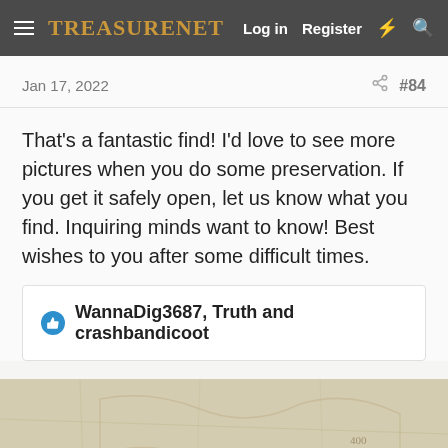TreasureNet  Log in  Register
Jan 17, 2022
#84
That's a fantastic find! I'd love to see more pictures when you do some preservation. If you get it safely open, let us know what you find. Inquiring minds want to know! Best wishes to you after some difficult times.
WannaDig3687, Truth and crashbandicoot
[Figure (map): Partial treasure map or aged map background image in beige/tan tones]